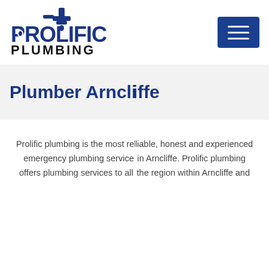[Figure (logo): Prolific Plumbing logo — blue stylized text with faucet icon on top]
Plumber Arncliffe
Prolific plumbing is the most reliable, honest and experienced emergency plumbing service in Arncliffe. Prolific plumbing offers plumbing services to all the region within Arncliffe and